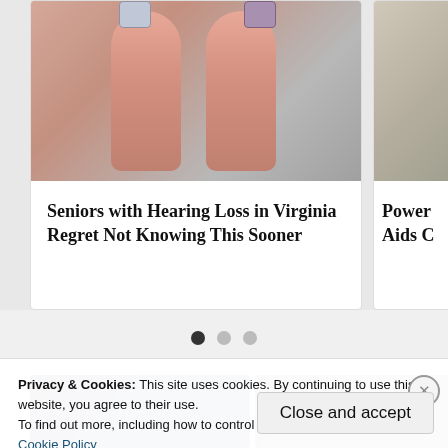[Figure (photo): Close-up photo of two fingers holding small hearing aids]
Seniors with Hearing Loss in Virginia Regret Not Knowing This Sooner
[Figure (photo): Partially visible card image with text 'Power Aids C']
[Figure (other): Carousel pagination dots: three dots, first one active (filled), two inactive]
[Figure (photo): Bottom image row showing two product images partially visible]
Privacy & Cookies: This site uses cookies. By continuing to use this website, you agree to their use.
To find out more, including how to control cookies, see here:
Cookie Policy
Close and accept